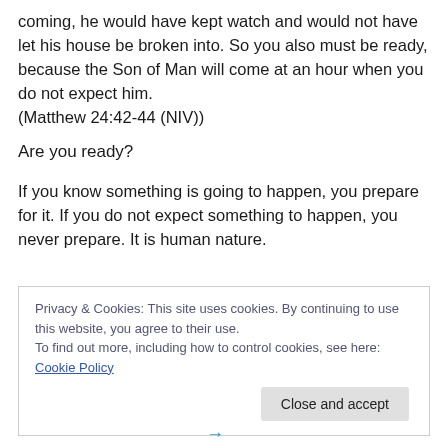coming, he would have kept watch and would not have let his house be broken into. So you also must be ready, because the Son of Man will come at an hour when you do not expect him.
(Matthew 24:42-44 (NIV))
Are you ready?
If you know something is going to happen, you prepare for it. If you do not expect something to happen, you never prepare. It is human nature.
Privacy & Cookies: This site uses cookies. By continuing to use this website, you agree to their use.
To find out more, including how to control cookies, see here: Cookie Policy
Close and accept